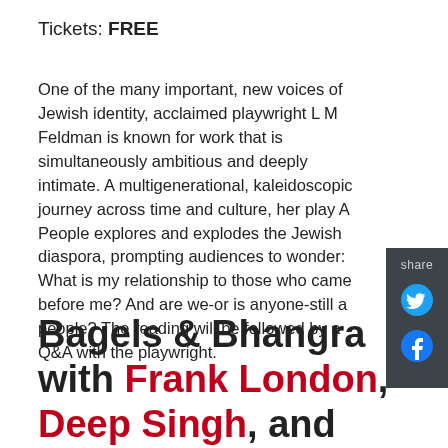Tickets: FREE
One of the many important, new voices of Jewish identity, acclaimed playwright L M Feldman is known for work that is simultaneously ambitious and deeply intimate. A multigenerational, kaleidoscopic journey across time and culture, her play A People explores and explodes the Jewish diaspora, prompting audiences to wonder: What is my relationship to those who came before me? And are we-or is anyone-still a people? The reading will be followed by a Q&A with the playwright.
Bagels & Bhangra with Frank London, Deep Singh, and special guest Ari Hoff...